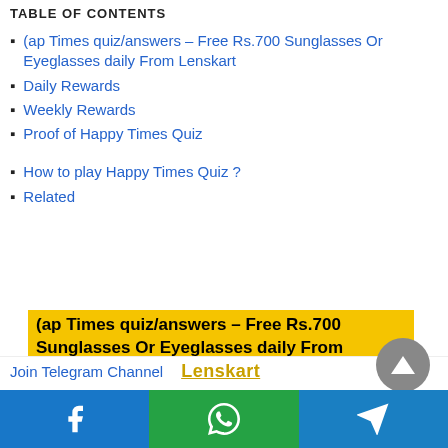TABLE OF CONTENTS
(ap Times quiz/answers – Free Rs.700 Sunglasses Or Eyeglasses daily From Lenskart
Daily Rewards
Weekly Rewards
Proof of Happy Times Quiz
How to play Happy Times Quiz ?
Related
(ap Times quiz/answers – Free Rs.700 Sunglasses Or Eyeglasses daily From Lenskart
Join Telegram Channel
Lenskart